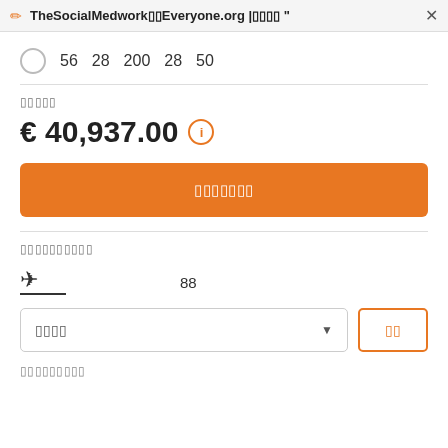TheSocialMedwork Everyone.org | "
56  28  200    28  50
█████
€ 40,937.00
███████
██████████
88
████
██
█████████